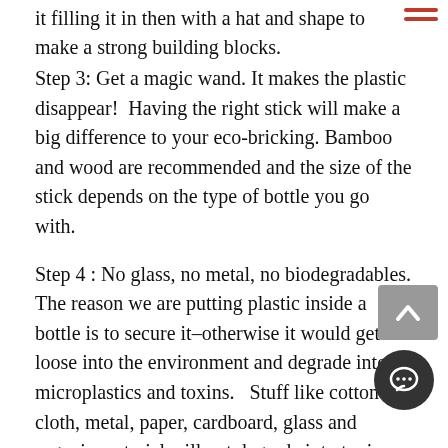it filling it in then with a hat and shape to make a strong building blocks.
Step 3: Get a magic wand. It makes the plastic disappear!  Having the right stick will make a big difference to your eco-bricking. Bamboo and wood are recommended and the size of the stick depends on the type of bottle you go with.
Step 4 : No glass, no metal, no biodegradables. The reason we are putting plastic inside a bottle is to secure it–otherwise it would get loose into the environment and degrade into microplastics and toxins.   Stuff like cotton cloth, metal, paper, cardboard, glass and organic material will not degrade into toxins so there is no need to secure them.  Be especially careful...